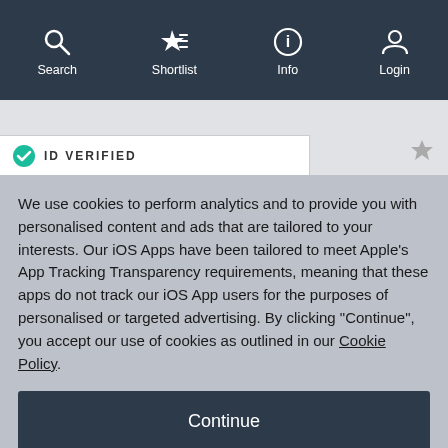Search | Shortlist | Info | Login
[Figure (screenshot): Light grey background area with partial ID Verified badge visible]
We use cookies to perform analytics and to provide you with personalised content and ads that are tailored to your interests. Our iOS Apps have been tailored to meet Apple's App Tracking Transparency requirements, meaning that these apps do not track our iOS App users for the purposes of personalised or targeted advertising. By clicking "Continue", you accept our use of cookies as outlined in our Cookie Policy.
Continue